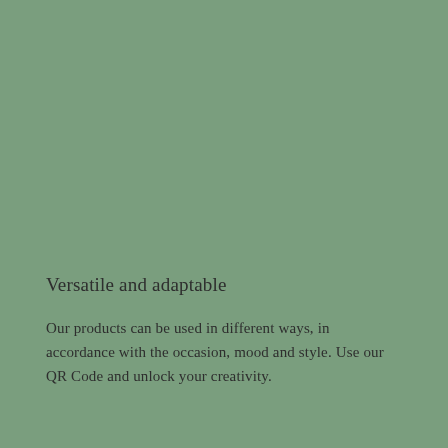Versatile and adaptable
Our products can be used in different ways, in accordance with the occasion, mood and style. Use our QR Code and unlock your creativity.